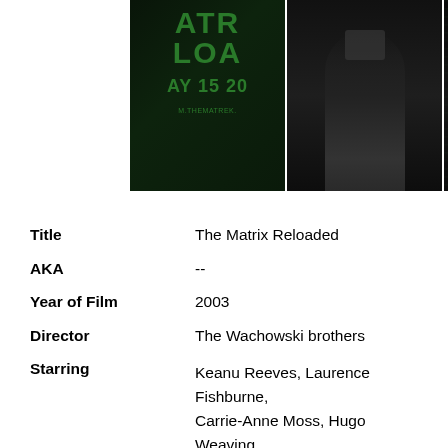[Figure (photo): Strip of four movie poster/promotional images for The Matrix Reloaded, showing Matrix green text, dark silhouettes and character images on black backgrounds]
| Title | The Matrix Reloaded |
| AKA | -- |
| Year of Film | 2003 |
| Director | The Wachowski brothers |
| Starring | Keanu Reeves, Laurence Fishburne, Carrie-Anne Moss, Hugo Weaving, Harold Perrineau, Randall Duk Kim, Jada Pinkett Smith, Helmut Bakaitis |
| Origin of Film | USA | Australia |
| Genre(s) of Film | Keanu Reeves, Laurence Fishburne, Carrie-Anne Moss, Hugo Weaving, |